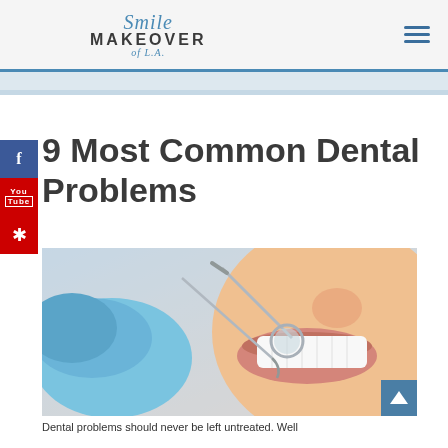Smile MAKEOVER of L.A.
9 Most Common Dental Problems
[Figure (photo): Close-up photo of a patient smiling with white teeth while a dental professional in blue gloves holds a dental mirror instrument near the patient's mouth.]
Dental problems should never be left untreated. Well